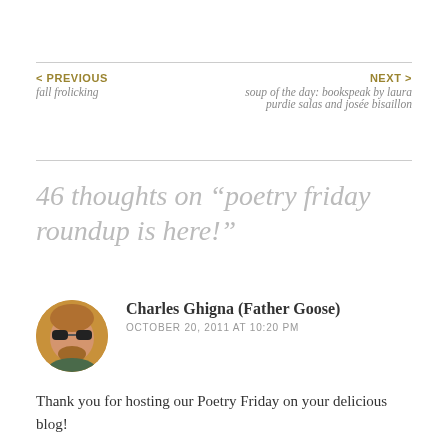< PREVIOUS
fall frolicking
NEXT >
soup of the day: bookspeak by laura purdie salas and josée bisaillon
46 thoughts on “poetry friday roundup is here!”
[Figure (photo): Circular avatar photo of Charles Ghigna (Father Goose), a man with sunglasses and a beard.]
Charles Ghigna (Father Goose)
OCTOBER 20, 2011 AT 10:20 PM
Thank you for hosting our Poetry Friday on your delicious blog!
We posted a new Haunted House poem ©